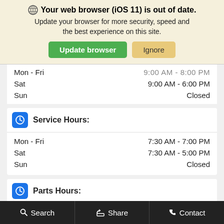[Figure (screenshot): Browser update warning banner with globe icon, bold heading 'Your web browser (iOS 11) is out of date.', subtext 'Update your browser for more security, speed and the best experience on this site.', and two buttons: 'Update browser' (green) and 'Ignore' (tan).]
| Mon - Fri | 9:00 AM - 8:00 PM |
| Sat | 9:00 AM - 6:00 PM |
| Sun | Closed |
Service Hours:
| Mon - Fri | 7:30 AM - 7:00 PM |
| Sat | 7:30 AM - 5:00 PM |
| Sun | Closed |
Parts Hours:
| Mon - Fri | 7:30 AM - 6:00 PM |
| Sat | 7:30 AM - 4:30 PM |
| Sun | Closed |
Eligibility Requirements
Search   Share   Contact